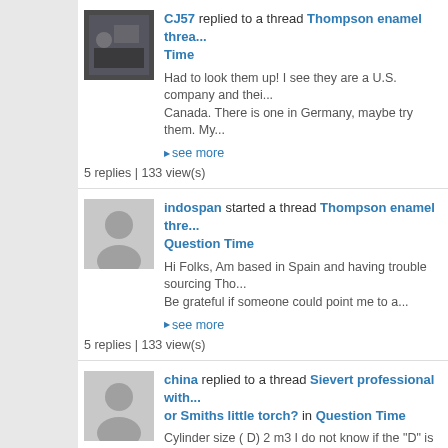CJ57 replied to a thread Thompson enamel thread... in Question Time
Had to look them up! I see they are a U.S. company and their... Canada. There is one in Germany, maybe try them. My...
▶ see more
5 replies | 133 view(s)
indospan started a thread Thompson enamel thre... in Question Time
Hi Folks, Am based in Spain and having trouble sourcing Tho... Be grateful if someone could point me to a...
▶ see more
5 replies | 133 view(s)
china replied to a thread Sievert professional with... or Smiths little torch? in Question Time
Cylinder size ( D) 2 m3 I do not know if the "D" is same over t...
▶ see more
14 replies | 251 view(s)
china replied to a thread Silver whale charm brace... Efseler enamel in Show & Tell!!